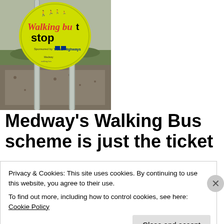[Figure (photo): Photograph of a 'Walking Bus Stop' sign on metal poles. The sign is circular, yellow/green, with colorful text reading 'Walking Bus stop' and 'Sponsored by VolkerHighways'. The background shows gravel ground and grass.]
Medway's Walking Bus scheme is just the ticket
Privacy & Cookies: This site uses cookies. By continuing to use this website, you agree to their use.
To find out more, including how to control cookies, see here: Cookie Policy